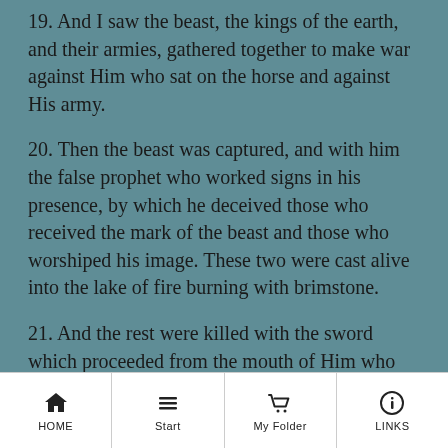19. And I saw the beast, the kings of the earth, and their armies, gathered together to make war against Him who sat on the horse and against His army.
20. Then the beast was captured, and with him the false prophet who worked signs in his presence, by which he deceived those who received the mark of the beast and those who worshiped his image. These two were cast alive into the lake of fire burning with brimstone.
21. And the rest were killed with the sword which proceeded from the mouth of Him who sat on the horse. And all the birds were filled with their flesh.
HOME | Start | My Folder | LINKS